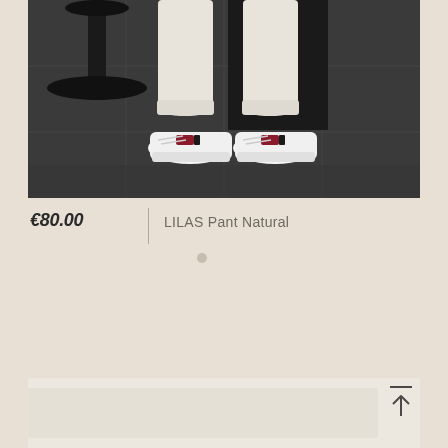[Figure (photo): Fashion photo showing lower body of person wearing white/cream jogger pants and white platform sneakers with dark accent, standing on dark tile floor near black furniture]
€80.00
LILAS Pant Natural
[Figure (photo): Second product image, partially visible, showing light beige/cream colored pants or clothing item]